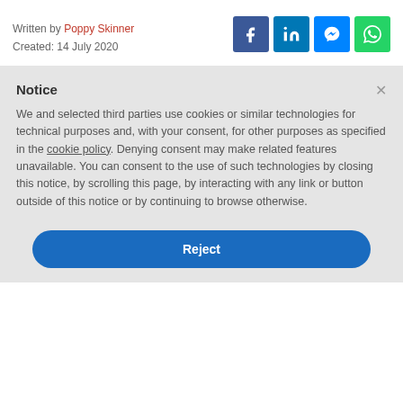Written by Poppy Skinner
Created: 14 July 2020
[Figure (other): Social share icons: Facebook, LinkedIn, Messenger, WhatsApp]
Notice
We and selected third parties use cookies or similar technologies for technical purposes and, with your consent, for other purposes as specified in the cookie policy. Denying consent may make related features unavailable. You can consent to the use of such technologies by closing this notice, by scrolling this page, by interacting with any link or button outside of this notice or by continuing to browse otherwise.
Reject